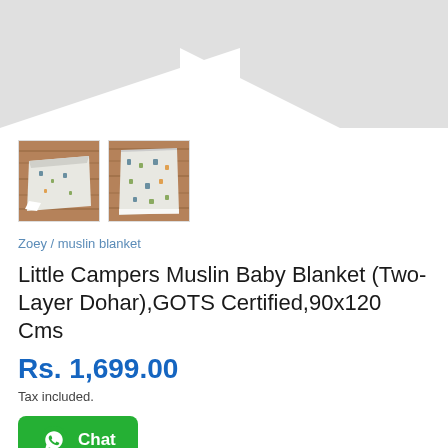[Figure (photo): Main product image area showing muslin baby blanket, light gray background with folded blanket shape visible as white triangle/shadow]
[Figure (photo): Thumbnail 1: Folded muslin baby blanket with camping print on wooden surface]
[Figure (photo): Thumbnail 2: Unfolded/spread muslin baby blanket with camping print on wooden surface]
Zoey / muslin blanket
Little Campers Muslin Baby Blanket (Two-Layer Dohar),GOTS Certified,90x120 Cms
Rs. 1,699.00
Tax included.
Chat
Quantity